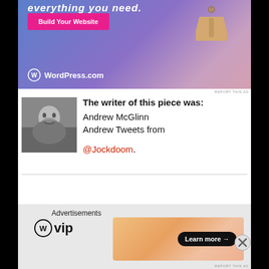[Figure (screenshot): WordPress.com advertisement banner with blue-to-pink gradient background, 'Build Your Website' pink button, hanging price tag illustration, and WordPress.com logo]
REPORT THIS AD
[Figure (photo): Black and white portrait photo of Andrew McGlinn clapping hands]
The writer of this piece was: Andrew McGlinn Andrew Tweets from @Jockdoom.
[Figure (logo): WordPress VIP logo]
[Figure (screenshot): Orange/peach gradient advertisement banner with 'Learn more →' button]
REPORT THIS AD